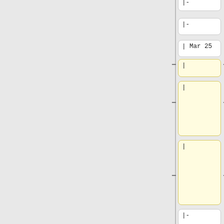|-
|-
| Mar 25
| Mar 25
|
| Karen/ML
|
| Ideas for Math Games - BOS or big props?
|
| 1/2 Tammy's class visit, No Beth F, No Meethu
|-
|-
| Mar 27
| Mar 27
|
| Mona Leigh/Brenna